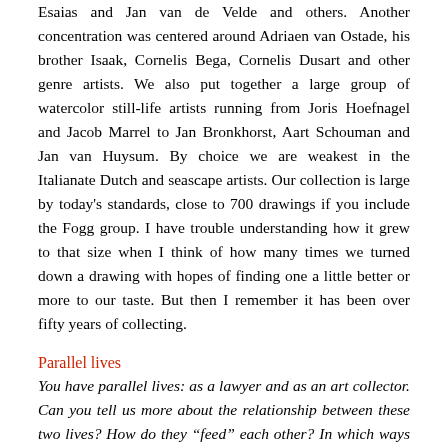Esaias and Jan van de Velde and others. Another concentration was centered around Adriaen van Ostade, his brother Isaak, Cornelis Bega, Cornelis Dusart and other genre artists. We also put together a large group of watercolor still-life artists running from Joris Hoefnagel and Jacob Marrel to Jan Bronkhorst, Aart Schouman and Jan van Huysum. By choice we are weakest in the Italianate Dutch and seascape artists. Our collection is large by today's standards, close to 700 drawings if you include the Fogg group. I have trouble understanding how it grew to that size when I think of how many times we turned down a drawing with hopes of finding one a little better or more to our taste. But then I remember it has been over fifty years of collecting.
Parallel lives
You have parallel lives: as a lawyer and as an art collector. Can you tell us more about the relationship between these two lives? How do they “feed” each other? In which ways do they compete?
When I was at law school, instead of working summers at law firms in order to advance opportunities for